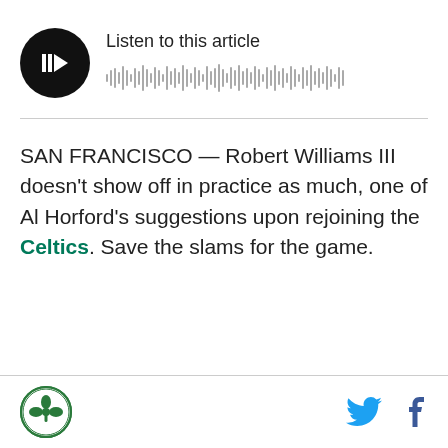[Figure (other): Audio player widget with a circular black play button icon and a grey audio waveform visualization, with the label 'Listen to this article' above the waveform.]
SAN FRANCISCO — Robert Williams III doesn't show off in practice as much, one of Al Horford's suggestions upon rejoining the Celtics. Save the slams for the game.
Logo icon and social media icons (Twitter, Facebook)